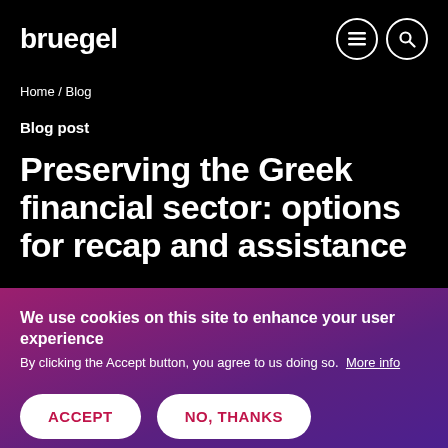bruegel
Home / Blog
Blog post
Preserving the Greek financial sector: options for recap and assistance
We use cookies on this site to enhance your user experience
By clicking the Accept button, you agree to us doing so. More info
ACCEPT   NO, THANKS